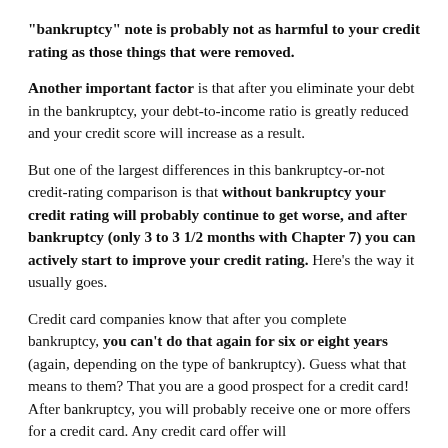"bankruptcy" note is probably not as harmful to your credit rating as those things that were removed.
Another important factor is that after you eliminate your debt in the bankruptcy, your debt-to-income ratio is greatly reduced and your credit score will increase as a result.
But one of the largest differences in this bankruptcy-or-not credit-rating comparison is that without bankruptcy your credit rating will probably continue to get worse, and after bankruptcy (only 3 to 3 1/2 months with Chapter 7) you can actively start to improve your credit rating. Here's the way it usually goes.
Credit card companies know that after you complete bankruptcy, you can't do that again for six or eight years (again, depending on the type of bankruptcy). Guess what that means to them? That you are a good prospect for a credit card! After bankruptcy, you will probably receive one or more offers for a credit card. Any credit card offer will